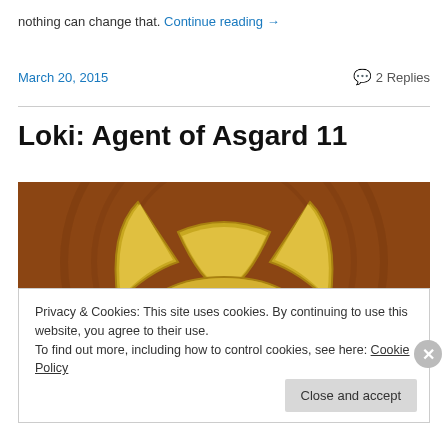nothing can change that. Continue reading →
March 20, 2015
💬 2 Replies
Loki: Agent of Asgard 11
[Figure (illustration): Comic book cover image showing Loki's golden horned helmet with text overlay 'Alternating Currents: Loki 11, Spencer and Taylor']
Privacy & Cookies: This site uses cookies. By continuing to use this website, you agree to their use. To find out more, including how to control cookies, see here: Cookie Policy